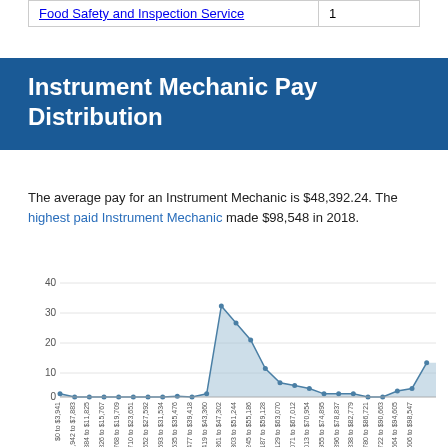|  |  |
| --- | --- |
| Food Safety and Inspection Service | 1 |
Instrument Mechanic Pay Distribution
The average pay for an Instrument Mechanic is $48,392.24. The highest paid Instrument Mechanic made $98,548 in 2018.
[Figure (area-chart): Instrument Mechanic Pay Distribution]